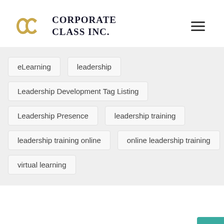[Figure (logo): Corporate Class Inc. logo with golden interlocked C letters and serif text]
eLearning
leadership
Leadership Development Tag Listing
Leadership Presence
leadership training
leadership training online
online leadership training
virtual learning